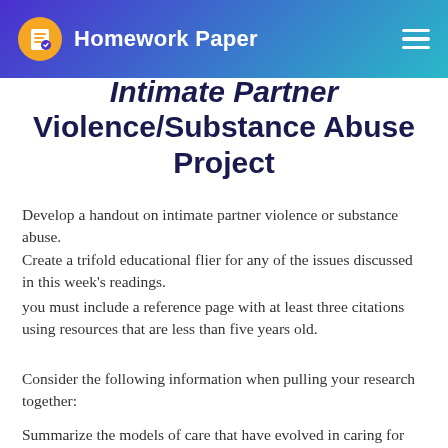Homework Paper
Intimate Partner Violence/Substance Abuse Project
Develop a handout on intimate partner violence or substance abuse.
Create a trifold educational flier for any of the issues discussed in this week's readings.
you must include a reference page with at least three citations using resources that are less than five years old.
Consider the following information when pulling your research together:
Summarize the models of care that have evolved in caring for victims of intentional violence.